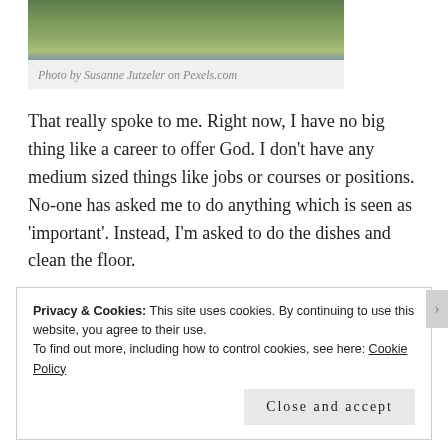[Figure (photo): Bottom portion of a person jumping on green grass, showing jeans and dark shoes]
Photo by Susanne Jutzeler on Pexels.com
That really spoke to me. Right now, I have no big thing like a career to offer God. I don't have any medium sized things like jobs or courses or positions. No-one has asked me to do anything which is seen as 'important'. Instead, I'm asked to do the dishes and clean the floor.
Privacy & Cookies: This site uses cookies. By continuing to use this website, you agree to their use.
To find out more, including how to control cookies, see here: Cookie Policy
Close and accept